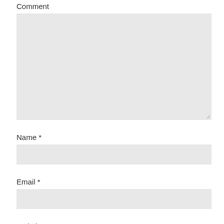Comment
[Figure (other): Large textarea input box with light gray background and resize handle at bottom-right corner]
Name *
[Figure (other): Single-line text input box with light gray background]
Email *
[Figure (other): Single-line text input box with light gray background]
Website